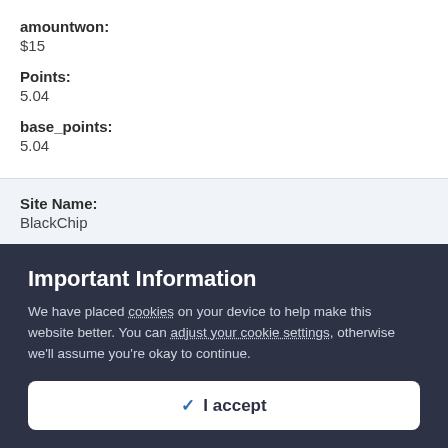amountwon: $15
Points: 5.04
base_points: 5.04
Site Name: BlackChip
tournamentName: Sunday WarmUp - $300,000 GTD
Important Information
We have placed cookies on your device to help make this website better. You can adjust your cookie settings, otherwise we'll assume you're okay to continue.
✓  I accept